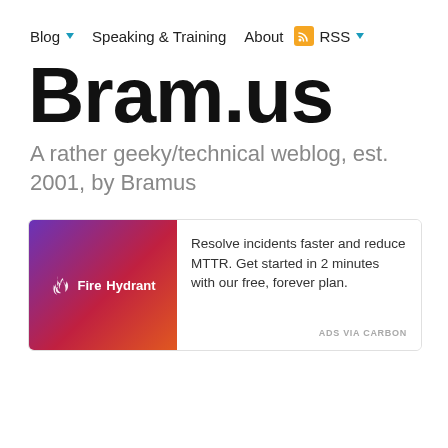Blog ▾   Speaking & Training   About   RSS ▾
Bram.us
A rather geeky/technical weblog, est. 2001, by Bramus
[Figure (infographic): FireHydrant advertisement: logo on gradient purple-to-red background on left, text 'Resolve incidents faster and reduce MTTR. Get started in 2 minutes with our free, forever plan.' on right, 'ADS VIA CARBON' at bottom right.]